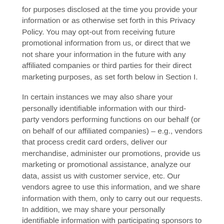for purposes disclosed at the time you provide your information or as otherwise set forth in this Privacy Policy. You may opt-out from receiving future promotional information from us, or direct that we not share your information in the future with any affiliated companies or third parties for their direct marketing purposes, as set forth below in Section I.
In certain instances we may also share your personally identifiable information with our third-party vendors performing functions on our behalf (or on behalf of our affiliated companies) – e.g., vendors that process credit card orders, deliver our merchandise, administer our promotions, provide us marketing or promotional assistance, analyze our data, assist us with customer service, etc. Our vendors agree to use this information, and we share information with them, only to carry out our requests. In addition, we may share your personally identifiable information with participating sponsors to a program or promotion (e.g., a sweepstakes or contest) you enter via our Websites, and with third parties who